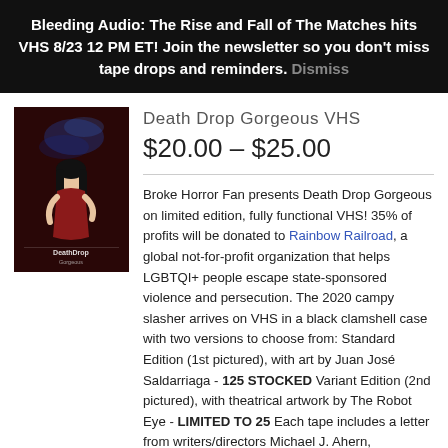Bleeding Audio: The Rise and Fall of The Matches hits VHS 8/23 12 PM ET! Join the newsletter so you don't miss tape drops and reminders. Dismiss
[Figure (photo): VHS cover art for Death Drop Gorgeous — stylized horror movie poster with woman and blue smoke on dark red background]
Death Drop Gorgeous VHS
$20.00 – $25.00
Broke Horror Fan presents Death Drop Gorgeous on limited edition, fully functional VHS! 35% of profits will be donated to Rainbow Railroad, a global not-for-profit organization that helps LGBTQI+ people escape state-sponsored violence and persecution. The 2020 campy slasher arrives on VHS in a black clamshell case with two versions to choose from: Standard Edition (1st pictured), with art by Juan José Saldarriaga - 125 STOCKED Variant Edition (2nd pictured), with theatrical artwork by The Robot Eye - LIMITED TO 25 Each tape includes a letter from writers/directors Michael J. Ahern, Christopher Dalpe, and Brandon Perras and an exclusive